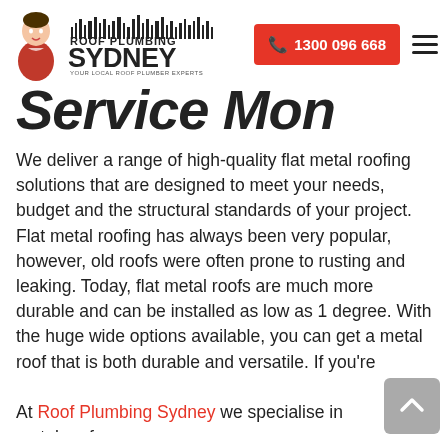Roof Plumbing Sydney | 1300 096 668
Service Metal Roofing
We deliver a range of high-quality flat metal roofing solutions that are designed to meet your needs, budget and the structural standards of your project. Flat metal roofing has always been very popular, however, old roofs were often prone to rusting and leaking. Today, flat metal roofs are much more durable and can be installed as low as 1 degree. With the huge wide options available, you can get a metal roof that is both durable and versatile. If you’re looking for metal roof repair or replacement, we can provide a fantastic service that will exceed expectations.
At Roof Plumbing Sydney we specialise in metal roof